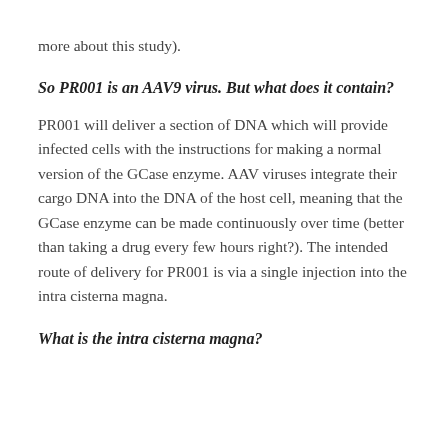more about this study).
So PR001 is an AAV9 virus. But what does it contain?
PR001 will deliver a section of DNA which will provide infected cells with the instructions for making a normal version of the GCase enzyme. AAV viruses integrate their cargo DNA into the DNA of the host cell, meaning that the GCase enzyme can be made continuously over time (better than taking a drug every few hours right?). The intended route of delivery for PR001 is via a single injection into the intra cisterna magna.
What is the intra cisterna magna?